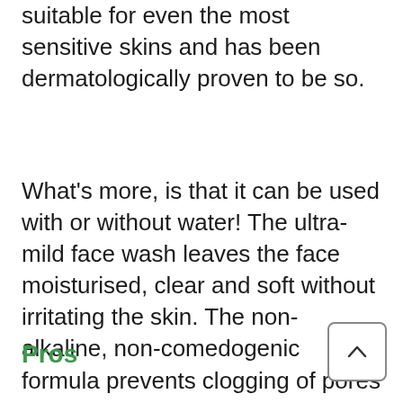suitable for even the most sensitive skins and has been dermatologically proven to be so.
What's more, is that it can be used with or without water! The ultra-mild face wash leaves the face moisturised, clear and soft without irritating the skin. The non-alkaline, non-comedogenic formula prevents clogging of pores without stealing the natural glow of your face.
Pros